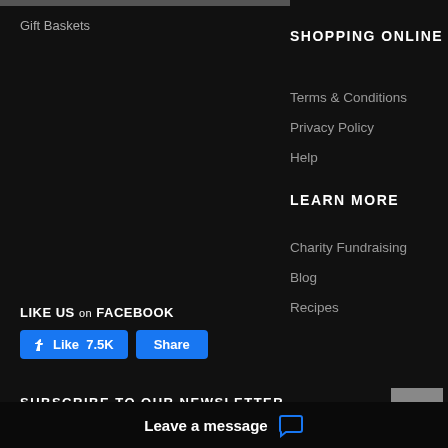Gift Baskets
SHOPPING ONLINE
Terms & Conditions
Privacy Policy
Help
LEARN MORE
Charity Fundraising
Blog
Recipes
LIKE US on FACEBOOK
[Figure (screenshot): Facebook Like (7.5K) and Share buttons in blue]
SUBSCRIBE TO OUR NEWSLETTER
Your email address
Leave a message